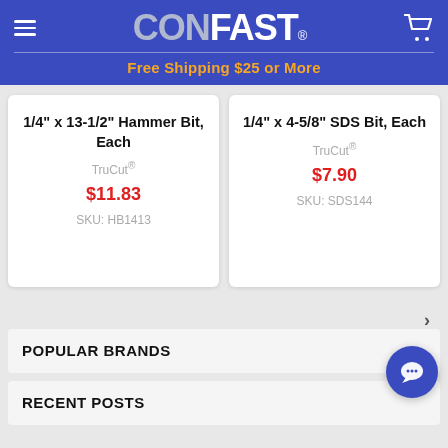CONFAST — Free Shipping $25 or More
1/4" x 13-1/2" Hammer Bit, Each
TruCut®
$11.83
SKU: HB1413
1/4" x 4-5/8" SDS Bit, Each
TruCut®
$7.90
SKU: SDS144
POPULAR BRANDS
RECENT POSTS